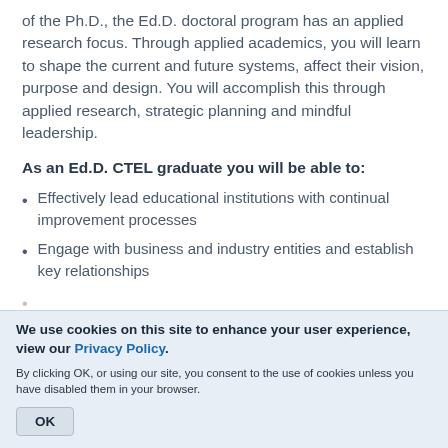of the Ph.D., the Ed.D. doctoral program has an applied research focus. Through applied academics, you will learn to shape the current and future systems, affect their vision, purpose and design. You will accomplish this through applied research, strategic planning and mindful leadership.
As an Ed.D. CTEL graduate you will be able to:
Effectively lead educational institutions with continual improvement processes
Engage with business and industry entities and establish key relationships
We use cookies on this site to enhance your user experience, view our Privacy Policy.
By clicking OK, or using our site, you consent to the use of cookies unless you have disabled them in your browser.